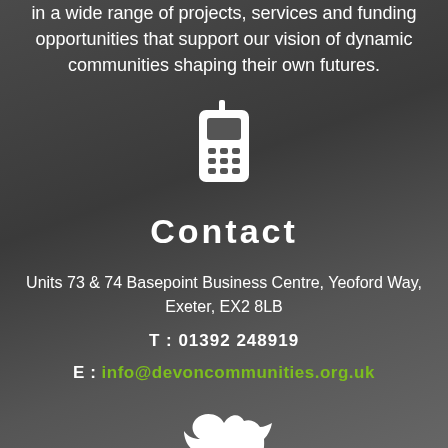in a wide range of projects, services and funding opportunities that support our vision of dynamic communities shaping their own futures.
[Figure (illustration): White mobile/cell phone icon on dark background]
Contact
Units 73 & 74 Basepoint Business Centre, Yeoford Way, Exeter, EX2 8LB
T : 01392 248919
E : info@devoncommunities.org.uk
[Figure (illustration): White Twitter bird icon at bottom of page]